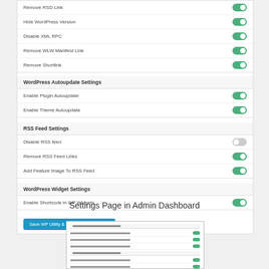[Figure (screenshot): WordPress admin settings page showing toggle switches for various settings including Remove RSD Link (on), Hide WordPress Version (on), Disable XML RPC (on), Remove WLW Manifest Link (on), Remove Shortlink (on), WordPress Autoupdate Settings section with Enable Plugin Autoupdate (on), Enable Theme Autoupdate (on), RSS Feed Settings section with Disable RSS feed (off), Remove RSS Feed Links (on), Add Feature Image To RSS Feed (on), WordPress Widget Settings section with Enable Shortcode in WP Widgets (on), and a Save WP Utility & Performance Settings button.]
Settings Page in Admin Dashboard
[Figure (screenshot): Thumbnail image of a WordPress settings page showing toggle rows with green indicators.]